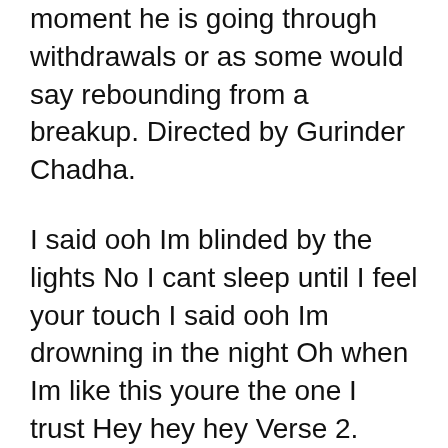moment he is going through withdrawals or as some would say rebounding from a breakup. Directed by Gurinder Chadha.
I said ooh Im blinded by the lights No I cant sleep until I feel your touch I said ooh Im drowning in the night Oh when Im like this youre the one I trust Hey hey hey Verse 2. Blinding Lights is the second single off of The Weeknd fourth studio album. HttptheweekndcoblindinglightsYD Subscribe to The Weeknd on YouTube.
When the Canadian artist dropped his fourth studio album earlier this year it had been heralded in by the hit single Blinding Lights which was released in November 2019. This marked the Weeknds third visit to the shows